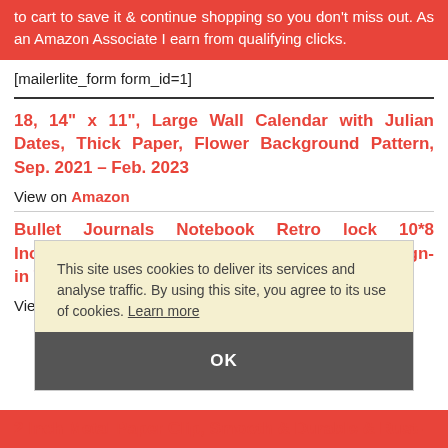to cart to save it & continue shopping so you don't miss out. As an Amazon Associate I earn from qualifying clicks.
[mailerlite_form form_id=1]
18, 14" x 11", Large Wall Calendar with Julian Dates, Thick Paper, Flower Background Pattern, Sep. 2021 – Feb. 2023
View on Amazon
Bullet Journals Notebook Retro lock 10*8 Inches,Extra Thick Paper Guestbook Registry Sign-in Travel Diary Hardcover
View on Amazon
This site uses cookies to deliver its services and analyse traffic. By using this site, you agree to its use of cookies. Learn more
2 Inch Metal Paper Clip, Smooth & Durable & Rust-